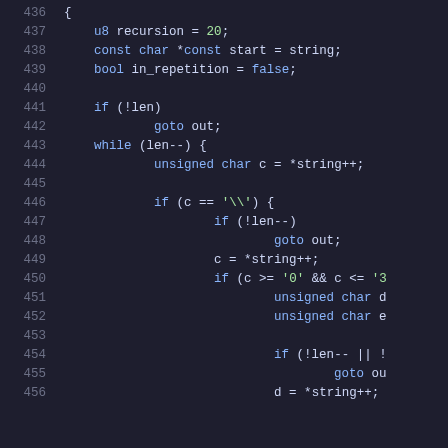Source code listing, lines 436–456, C language code snippet showing recursion, string parsing with while loop and escape sequence handling.